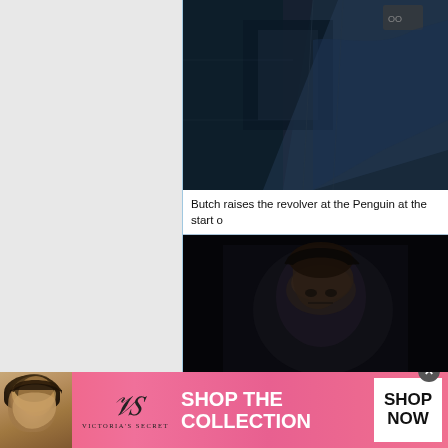[Figure (screenshot): Dark screenshot of a person in a plaid jacket, partially visible, against dark background - top image]
Butch raises the revolver at the Penguin at the start o
[Figure (screenshot): Dark screenshot of a man with dark hair with eyes closed or looking down, against very dark background - bottom image]
[Figure (photo): Victoria's Secret advertisement banner with model, VS logo, and 'SHOP THE COLLECTION / SHOP NOW' text on pink background]